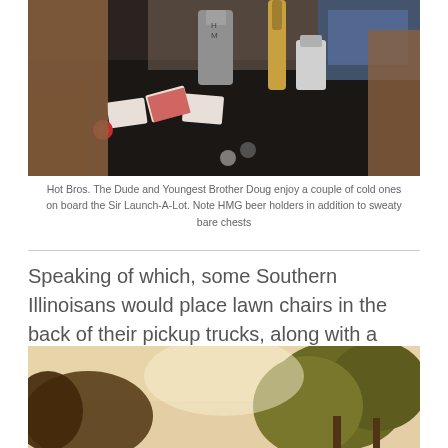[Figure (photo): Photo of two men sitting on a boat with playing cards, poker chips, beer bottles and HMG beer holders on a dark table, with blue seating visible in background.]
Hot Bros. The Dude and Youngest Brother Doug enjoy a couple of cold ones on board the Sir Launch-A-Lot. Note HMG beer holders in addition to sweaty bare chests
Speaking of which, some Southern Illinoisans would place lawn chairs in the back of their pickup trucks, along with a cooler of beer, load it up with their friends and then drive around town.
[Figure (photo): Outdoor photo showing silhouettes of trees with green and golden foliage against a bright pale sky, warm evening light.]